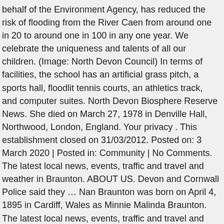behalf of the Environment Agency, has reduced the risk of flooding from the River Caen from around one in 20 to around one in 100 in any one year. We celebrate the uniqueness and talents of all our children. (Image: North Devon Council) In terms of facilities, the school has an artificial grass pitch, a sports hall, floodlit tennis courts, an athletics track, and computer suites. North Devon Biosphere Reserve News. She died on March 27, 1978 in Denville Hall, Northwood, London, England. Your privacy . This establishment closed on 31/03/2012. Posted on: 3 March 2020 | Posted in: Community | No Comments. The latest local news, events, traffic and travel and weather in Braunton. ABOUT US. Devon and Cornwall Police said they … Nan Braunton was born on April 4, 1895 in Cardiff, Wales as Minnie Malinda Braunton. The latest local news, events, traffic and travel and weather in Braunton. Everyone that lives within the Braunton/ Wrafton area needs to Register as a Community Member. Fully inclusive cleaning, utilities and business rates) six affordable 'hot desks' available for half day / full day hire,